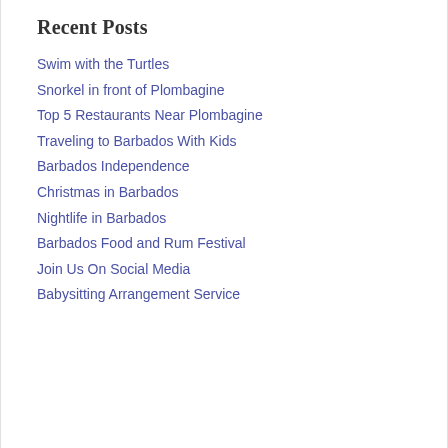Recent Posts
Swim with the Turtles
Snorkel in front of Plombagine
Top 5 Restaurants Near Plombagine
Traveling to Barbados With Kids
Barbados Independence
Christmas in Barbados
Nightlife in Barbados
Barbados Food and Rum Festival
Join Us On Social Media
Babysitting Arrangement Service